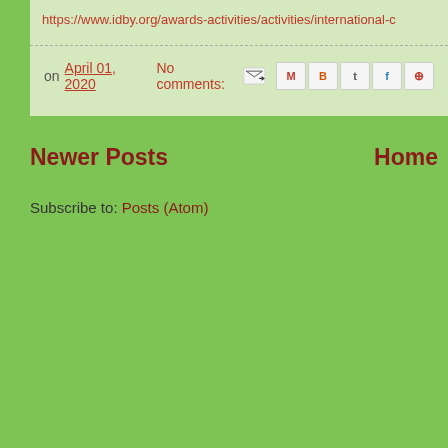https://www.idby.org/awards-activities/activities/international-c
on April 01, 2020   No comments:
Newer Posts      Home
Subscribe to: Posts (Atom)